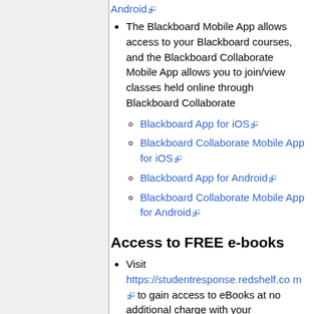Android [external link]
The Blackboard Mobile App allows access to your Blackboard courses, and the Blackboard Collaborate Mobile App allows you to join/view classes held online through Blackboard Collaborate
Blackboard App for iOS [external link]
Blackboard Collaborate Mobile App for iOS [external link]
Blackboard App for Android [external link]
Blackboard Collaborate Mobile App for Android [external link]
Access to FREE e-books
Visit https://studentresponse.redshelf.com [external link] to gain access to eBooks at no additional charge with your